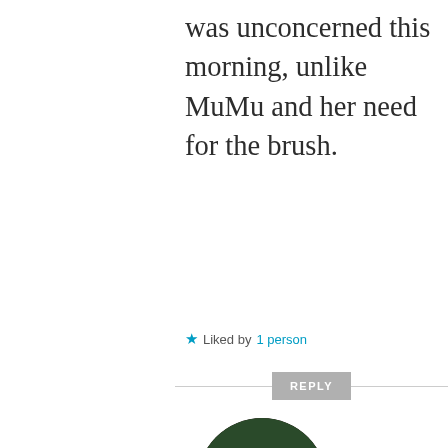was unconcerned this morning, unlike MuMu and her need for the brush.
★ Liked by 1 person
REPLY
[Figure (photo): Circular avatar photo of a person sitting on the ground with a dog, wearing a red hat and black shirt, outdoors on a wooden surface]
JANUARY
27, 2020